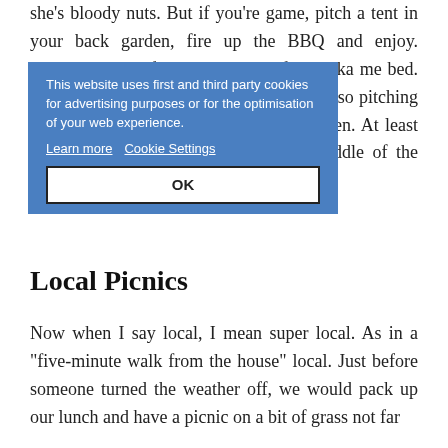she's bloody nuts. But if you're game, pitch a tent in your back garden, fire up the BBQ and enjoy. Personally, I prefer my home comforts. Aka me bed. Camping is fun when you're a kid though so pitching up in the back garden is a nice go-between. At least you can nip inside for a pee in the middle of the night.
This website uses first and third party cookies for advertising purposes or for the optimisation of your web experience.
Learn more  Cookie Settings
OK
Local Picnics
Now when I say local, I mean super local. As in a “five-minute walk from the house” local. Just before someone turned the weather off, we would pack up our lunch and have a picnic on a bit of grass not far